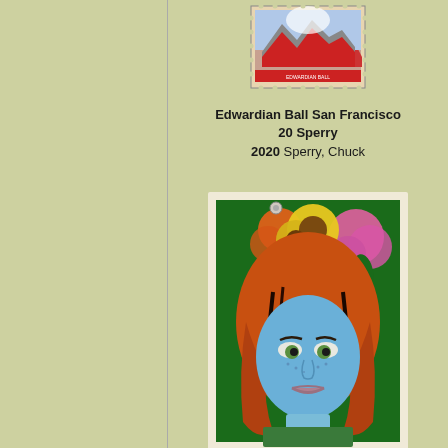[Figure (illustration): Postage stamp style image - Edwardian Ball San Francisco artwork, partially visible at top]
Edwardian Ball San Francisco 20 Sperry
2020 Sperry, Chuck
[Figure (illustration): Colorful artwork showing a woman with blue skin and orange hair adorned with large colorful flowers including sunflowers on a floral background]
Empathy 20 Sperry - Regular
2020 Sperry, Chuck